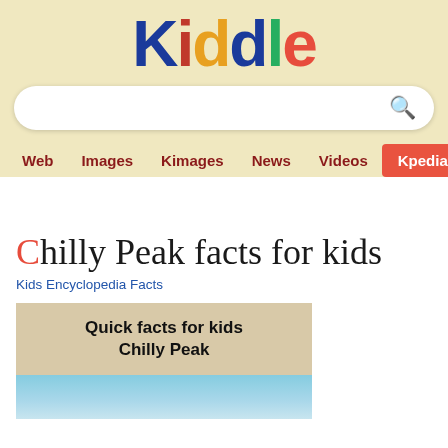Kiddle
[Figure (screenshot): Kiddle search bar with search icon]
Web  Images  Kimages  News  Videos  Kpedia
Chilly Peak facts for kids
Kids Encyclopedia Facts
| Quick facts for kids | Chilly Peak |
| --- | --- |